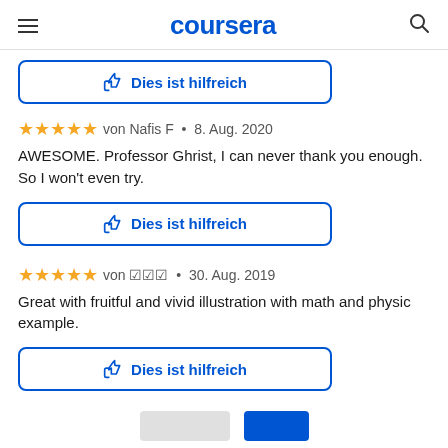coursera
von Nafis F • 8. Aug. 2020
AWESOME. Professor Ghrist, I can never thank you enough. So I won't even try.
Dies ist hilfreich
von 웃웃웃 • 30. Aug. 2019
Great with fruitful and vivid illustration with math and physic example.
Dies ist hilfreich